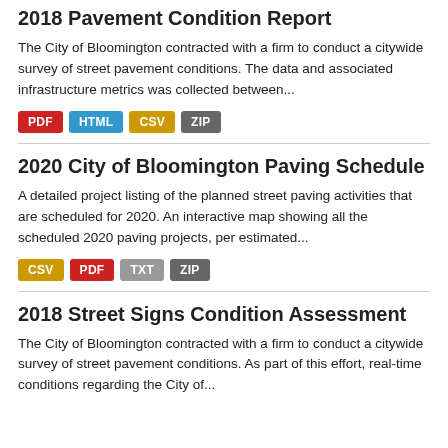2018 Pavement Condition Report
The City of Bloomington contracted with a firm to conduct a citywide survey of street pavement conditions. The data and associated infrastructure metrics was collected between...
PDF HTML CSV ZIP
2020 City of Bloomington Paving Schedule
A detailed project listing of the planned street paving activities that are scheduled for 2020. An interactive map showing all the scheduled 2020 paving projects, per estimated...
CSV PDF TXT ZIP
2018 Street Signs Condition Assessment
The City of Bloomington contracted with a firm to conduct a citywide survey of street pavement conditions. As part of this effort, real-time conditions regarding the City of...